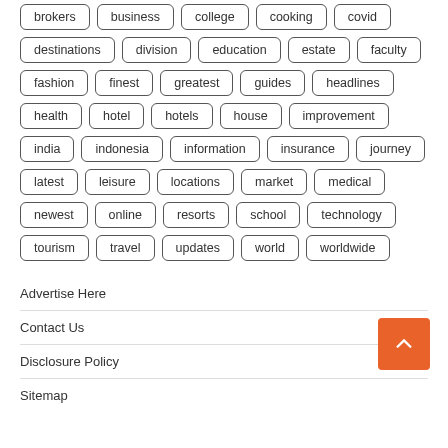brokers
business
college
cooking
covid
destinations
division
education
estate
faculty
fashion
finest
greatest
guides
headlines
health
hotel
hotels
house
improvement
india
indonesia
information
insurance
journey
latest
leisure
locations
market
medical
newest
online
resorts
school
technology
tourism
travel
updates
world
worldwide
Advertise Here
Contact Us
Disclosure Policy
Sitemap